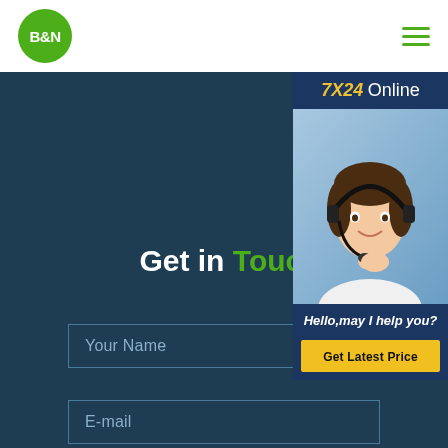[Figure (logo): B&N logo: green circle with white bold text B&N]
[Figure (infographic): Hamburger menu icon with three green horizontal lines]
[Figure (photo): 7X24 Online support panel showing a smiling female agent with headset. Panel includes yellow/gold italic '7X24' and white 'Online' header, agent photo, italic white text 'Hello,may I help you?', and a yellow 'Get Latest Price' button.]
Get in Touch
Your Name
E-mail